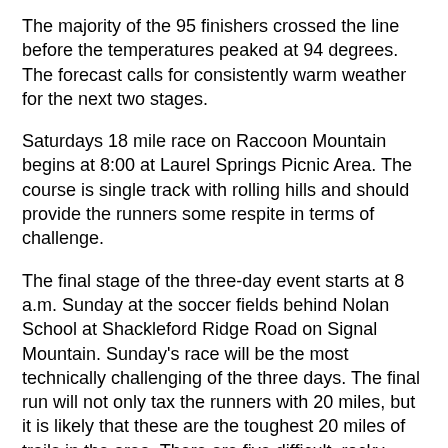The majority of the 95 finishers crossed the line before the temperatures peaked at 94 degrees. The forecast calls for consistently warm weather for the next two stages.
Saturdays 18 mile race on Raccoon Mountain begins at 8:00 at Laurel Springs Picnic Area. The course is single track with rolling hills and should provide the runners some respite in terms of challenge.
The final stage of the three-day event starts at 8 a.m. Sunday at the soccer fields behind Nolan School at Shackleford Ridge Road on Signal Mountain. Sunday's race will be the most technically challenging of the three days. The final run will not only tax the runners with 20 miles, but it is likely that these are the toughest 20 miles of trails in the area. There are five difficult, rocky climbs, and numerous technical sections on the mostly single track and Jeep road course.
For more information on the stage race, go to www.rockcreek.com/stagerace.